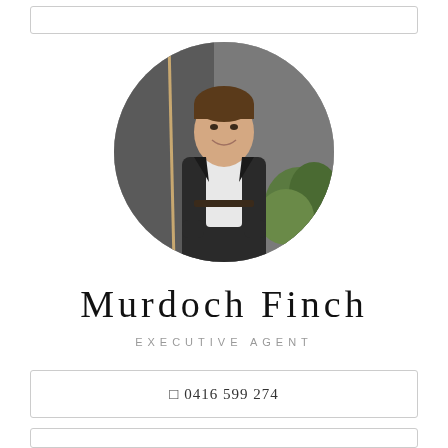[Figure (photo): Circular headshot photo of a man in a dark blazer and white shirt, smiling, standing outdoors near a grey wall with green plants in the background.]
Murdoch Finch
EXECUTIVE AGENT
0416 599 274